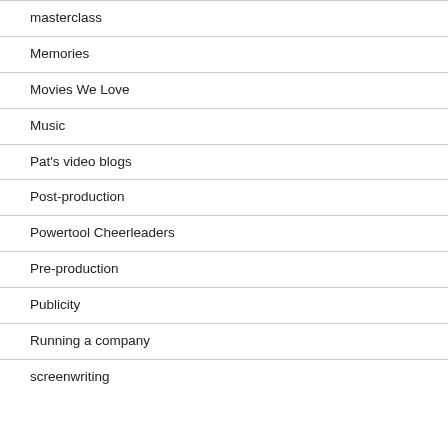masterclass
Memories
Movies We Love
Music
Pat's video blogs
Post-production
Powertool Cheerleaders
Pre-production
Publicity
Running a company
screenwriting